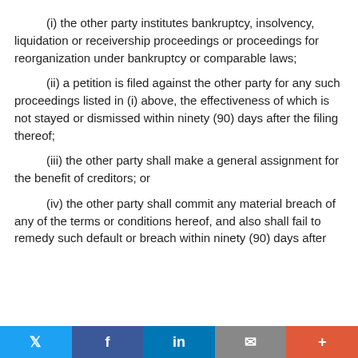(i) the other party institutes bankruptcy, insolvency, liquidation or receivership proceedings or proceedings for reorganization under bankruptcy or comparable laws;
(ii) a petition is filed against the other party for any such proceedings listed in (i) above, the effectiveness of which is not stayed or dismissed within ninety (90) days after the filing thereof;
(iii) the other party shall make a general assignment for the benefit of creditors; or
(iv) the other party shall commit any material breach of any of the terms or conditions hereof, and also shall fail to remedy such default or breach within ninety (90) days after